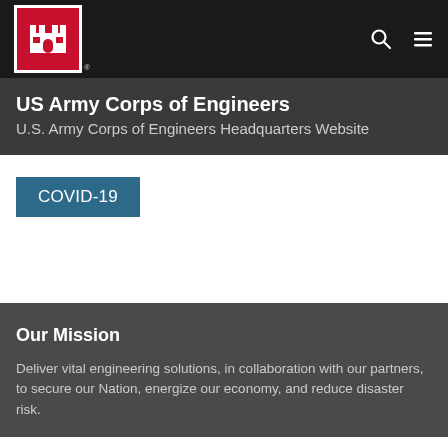[Figure (logo): US Army Corps of Engineers castle logo in red box with white border, navigation bar with search and menu icons]
US Army Corps of Engineers
U.S. Army Corps of Engineers Headquarters Website
COVID-19
Our Mission
Deliver vital engineering solutions, in collaboration with our partners, to secure our Nation, energize our economy, and reduce disaster risk.